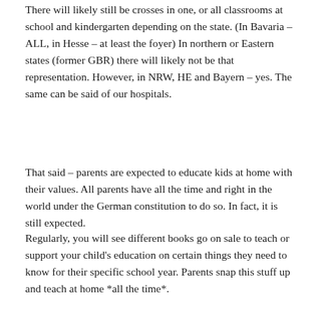There will likely still be crosses in one, or all classrooms at school and kindergarten depending on the state. (In Bavaria – ALL, in Hesse – at least the foyer) In northern or Eastern states (former GBR) there will likely not be that representation. However, in NRW, HE and Bayern – yes. The same can be said of our hospitals.
That said – parents are expected to educate kids at home with their values. All parents have all the time and right in the world under the German constitution to do so. In fact, it is still expected.
Regularly, you will see different books go on sale to teach or support your child's education on certain things they need to know for their specific school year. Parents snap this stuff up and teach at home *all the time*.